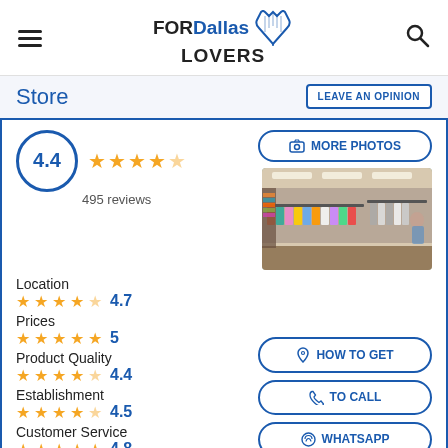FORDallas LOVERS
Store
LEAVE AN OPINION
4.4 — 495 reviews
MORE PHOTOS
[Figure (photo): Interior of a thrift/second-hand store with clothing racks and shelves]
Location 4.7
Prices 5
Product Quality 4.4
Establishment 4.5
Customer Service 4.8
HOW TO GET
TO CALL
WHATSAPP